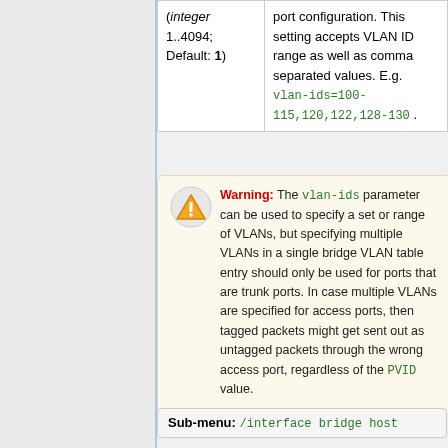| (integer 1..4094; Default: 1) | port configuration. This setting accepts VLAN ID range as well as comma separated values. E.g. vlan-ids=100-115,120,122,128-130 . |
Warning: The vlan-ids parameter can be used to specify a set or range of VLANs, but specifying multiple VLANs in a single bridge VLAN table entry should only be used for ports that are trunk ports. In case multiple VLANs are specified for access ports, then tagged packets might get sent out as untagged packets through the wrong access port, regardless of the PVID value.
Sub-menu: /interface bridge host